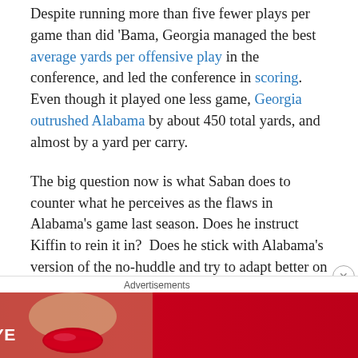Despite running more than five fewer plays per game than did 'Bama, Georgia managed the best average yards per offensive play in the conference, and led the conference in scoring. Even though it played one less game, Georgia outrushed Alabama by about 450 total yards, and almost by a yard per carry.
The big question now is what Saban does to counter what he perceives as the flaws in Alabama's game last season. Does he instruct Kiffin to rein it in? Does he stick with Alabama's version of the no-huddle and try to adapt better on defense? You know he's going to chew on it until he comes up with something.
[Figure (infographic): Macy's advertisement banner: 'KISS BORING LIPS GOODBYE' with a woman's face showing red lips, and a 'SHOP NOW' button with the Macy's star logo on a dark red background.]